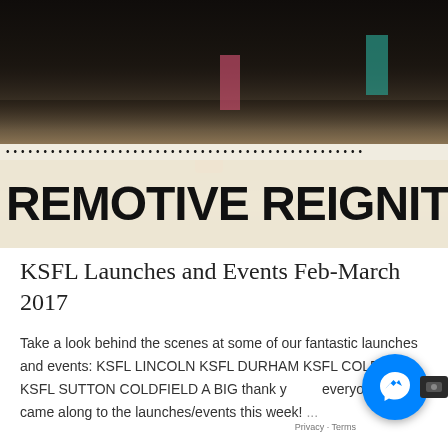[Figure (photo): Group photo showing legs/feet of people standing on a gym floor, with text overlay 'REMOTIVE REIGNITE' in bold black letters on light background, with a row of dots above the text]
KSFL Launches and Events Feb-March 2017
Take a look behind the scenes at some of our fantastic launches and events: KSFL LINCOLN KSFL DURHAM KSFL COLESHILL KSFL SUTTON COLDFIELD A BIG thank you to everyone who came along to the launches/events this week! ...